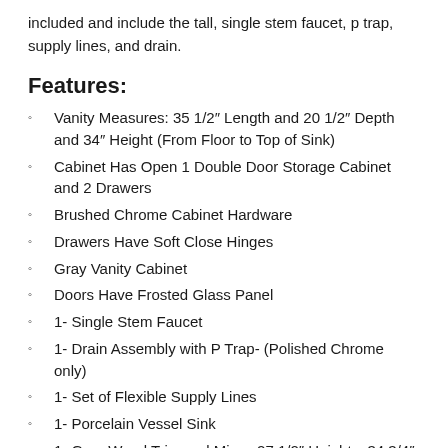included and include the tall, single stem faucet, p trap, supply lines, and drain.
Features:
Vanity Measures: 35 1/2″ Length and 20 1/2″ Depth and 34″ Height (From Floor to Top of Sink)
Cabinet Has Open 1 Double Door Storage Cabinet and 2 Drawers
Brushed Chrome Cabinet Hardware
Drawers Have Soft Close Hinges
Gray Vanity Cabinet
Doors Have Frosted Glass Panel
1- Single Stem Faucet
1- Drain Assembly with P Trap- (Polished Chrome only)
1- Set of Flexible Supply Lines
1- Porcelain Vessel Sink
1- Gray Wood Trimmed Mirror 27 1/2″ Height x 34 3/4″